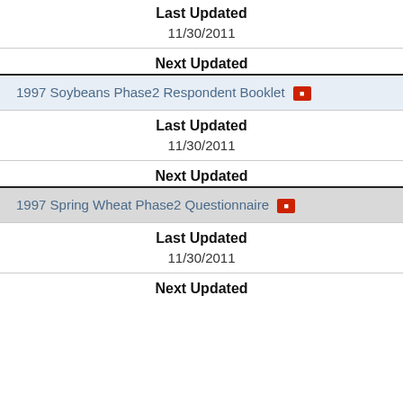Last Updated
11/30/2011
Next Updated
1997 Soybeans Phase2 Respondent Booklet
Last Updated
11/30/2011
Next Updated
1997 Spring Wheat Phase2 Questionnaire
Last Updated
11/30/2011
Next Updated